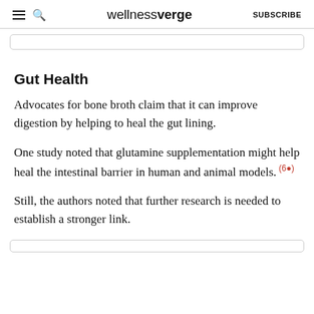wellnessverge | SUBSCRIBE
Gut Health
Advocates for bone broth claim that it can improve digestion by helping to heal the gut lining.
One study noted that glutamine supplementation might help heal the intestinal barrier in human and animal models. (6)
Still, the authors noted that further research is needed to establish a stronger link.